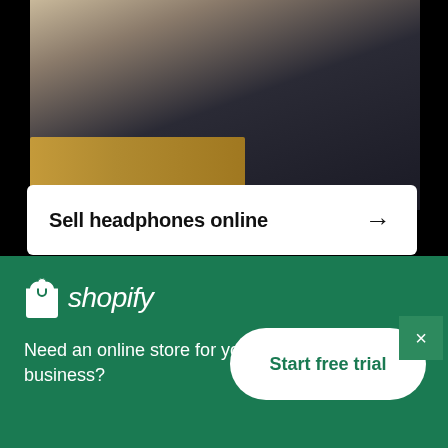[Figure (photo): Photo of a person wearing dark clothing, partially visible, with a bench/seat visible at bottom, dark background suggesting a transit environment]
Sell headphones online →
[Figure (photo): Close-up photo of orange/amber colored wooden or plastic slat chairs/benches]
[Figure (logo): Shopify logo: shopping bag icon with 'shopify' text in italic white on green background]
Need an online store for your business?
Start free trial